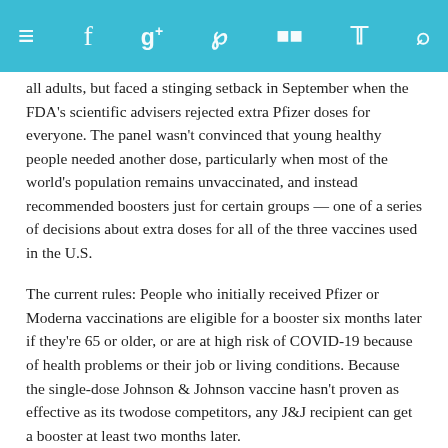≡  f  g+  p  RSS  Twitter  Search
all adults, but faced a stinging setback in September when the FDA's scientific advisers rejected extra Pfizer doses for everyone. The panel wasn't convinced that young healthy people needed another dose, particularly when most of the world's population remains unvaccinated, and instead recommended boosters just for certain groups — one of a series of decisions about extra doses for all of the three vaccines used in the U.S.
The current rules: People who initially received Pfizer or Moderna vaccinations are eligible for a booster six months later if they're 65 or older, or are at high risk of COVID-19 because of health problems or their job or living conditions. Because the single-dose Johnson & Johnson vaccine hasn't proven as effective as its twodose competitors, any J&J recipient can get a booster at least two months later.
Also, anyone eligible for a booster doesn't have to stick with their initial vaccination type and can get a different company's vaccine, what's called mixing and matching.
About 194 million Americans are fully vaccinated. Under today's